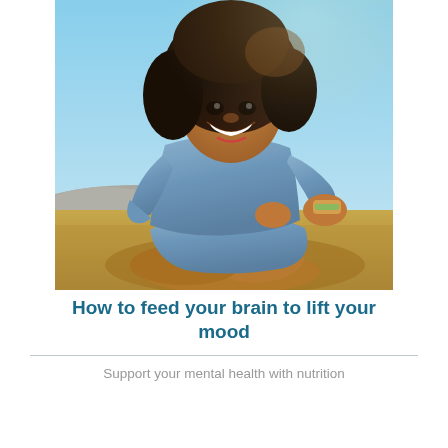[Figure (photo): A young Black woman with curly hair, laughing and eating a sandwich outdoors in a sunny field, wearing a denim shirt. Blue sky in background.]
How to feed your brain to lift your mood
Support your mental health with nutrition